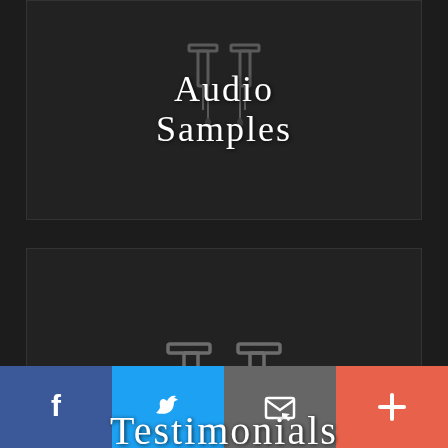[Figure (screenshot): Navigation card showing 'Audio Samples' text with a stylized metallic TT logo watermark on dark background]
[Figure (screenshot): Navigation card showing 'Testimonials' text with a stylized metallic TT logo watermark on dark background]
[Figure (screenshot): Navigation card partially showing 'Studio' text with a stylized metallic TT logo watermark on dark background]
[Figure (screenshot): Social media share bar with Facebook (blue), Twitter (light blue), Email (grey), and More/Plus (orange-red) buttons]